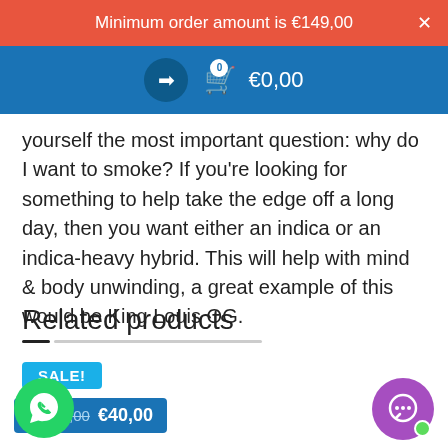Minimum order amount is €149,00
[Figure (screenshot): Blue navigation bar with login icon and cart showing €0,00]
yourself the most important question: why do I want to smoke? If you're looking for something to help take the edge off a long day, then you want either an indica or an indica-heavy hybrid. This will help with mind & body unwinding, a great example of this would be King Louis OG.
Related products
SALE!
€50,00  €40,00